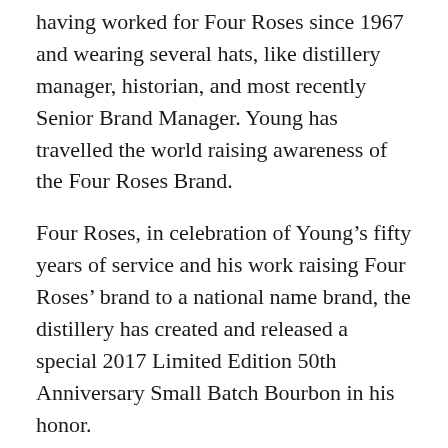having worked for Four Roses since 1967 and wearing several hats, like distillery manager, historian, and most recently Senior Brand Manager. Young has travelled the world raising awareness of the Four Roses Brand.
Four Roses, in celebration of Young's fifty years of service and his work raising Four Roses' brand to a national name brand, the distillery has created and released a special 2017 Limited Edition 50th Anniversary Small Batch Bourbon in his honor.
“We’re proud to host Al Young at Capital Cellars, for a special event before Bourbonanza. At 6:00PM, October 13, 2017 one lucky winner will have the opportunity to purchase a bottle of the 50th Anniversary bourbon and have it signed by Al Young” said Peake.
All Capital Cellars customers will be able to buy other Four